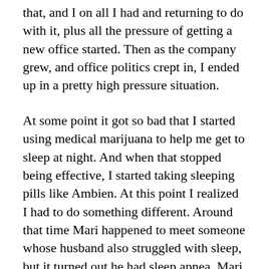that, and I on all I had and returning to do with it, plus all the pressure of getting a new office started. Then as the company grew, and office politics crept in, I ended up in a pretty high pressure situation.
At some point it got so bad that I started using medical marijuana to help me get to sleep at night. And when that stopped being effective, I started taking sleeping pills like Ambien. At this point I realized I had to do something different. Around that time Mari happened to meet someone whose husband also struggled with sleep, but it turned out he had sleep apnea. Mari thought that could be my problem as well, since she'd been worrying lately listening to my breathing. Sometimes I'd stop for quite awhile